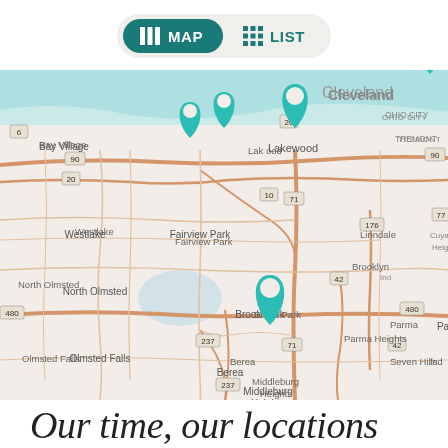[Figure (screenshot): UI toggle bar with MAP (active, teal background) and LIST buttons]
[Figure (map): Interactive map of the Cleveland, Ohio area showing Bay Village, Westlake, Fairview Park, North Olmsted, Olmsted Falls, Lakewood, Linndale, Brooklyn, Brook Park, Parma, Parma Heights, Middleburg Heights, Berea, Seven Hills regions with teal map pin markers at several locations. Roads and highways (6, 20, 90, 10, 71, 42, 480, 237, 176, 77) are visible.]
Our time, our locations